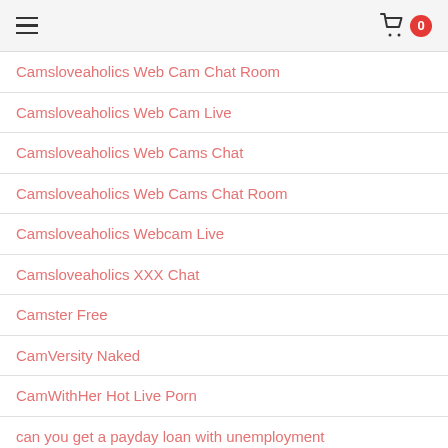≡  🛒 0
Camsloveaholics Web Cam Chat Room
Camsloveaholics Web Cam Live
Camsloveaholics Web Cams Chat
Camsloveaholics Web Cams Chat Room
Camsloveaholics Webcam Live
Camsloveaholics XXX Chat
Camster Free
CamVersity Naked
CamWithHer Hot Live Porn
can you get a payday loan with unemployment
can you have two payday loans at once